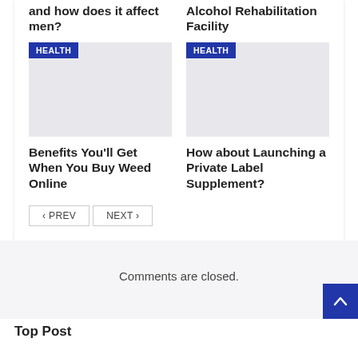and how does it affect men?
Alcohol Rehabilitation Facility
[Figure (photo): Gray placeholder image with HEALTH badge, left column]
[Figure (photo): Gray placeholder image with HEALTH badge, right column]
Benefits You'll Get When You Buy Weed Online
How about Launching a Private Label Supplement?
< PREV
NEXT >
Comments are closed.
Top Post